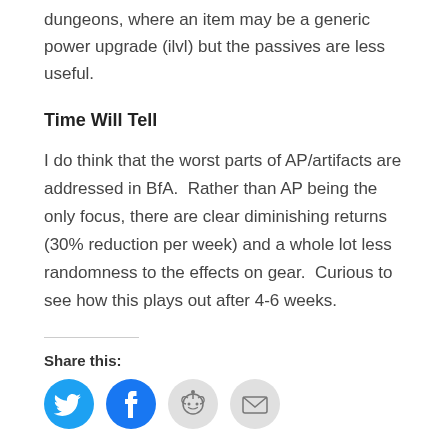dungeons, where an item may be a generic power upgrade (ilvl) but the passives are less useful.
Time Will Tell
I do think that the worst parts of AP/artifacts are addressed in BfA.  Rather than AP being the only focus, there are clear diminishing returns (30% reduction per week) and a whole lot less randomness to the effects on gear.  Curious to see how this plays out after 4-6 weeks.
Share this: